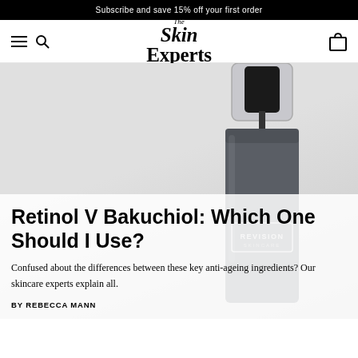Subscribe and save 15% off your first order
[Figure (logo): The Skin Experts logo with hamburger menu, search icon, and bag icon navigation bar]
[Figure (photo): Black and white photo of a dark grey Revision Skincare serum bottle with clear pump top on a light grey background]
Retinol V Bakuchiol: Which One Should I Use?
Confused about the differences between these key anti-ageing ingredients? Our skincare experts explain all.
BY REBECCA MANN